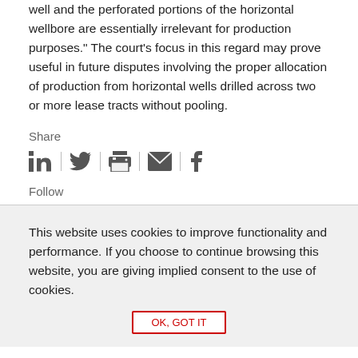well and the perforated portions of the horizontal wellbore are essentially irrelevant for production purposes." The court's focus in this regard may prove useful in future disputes involving the proper allocation of production from horizontal wells drilled across two or more lease tracts without pooling.
Share
[Figure (infographic): Social sharing icons: LinkedIn, Twitter, Print, Email, Facebook — separated by vertical dividers]
Follow
This website uses cookies to improve functionality and performance. If you choose to continue browsing this website, you are giving implied consent to the use of cookies.